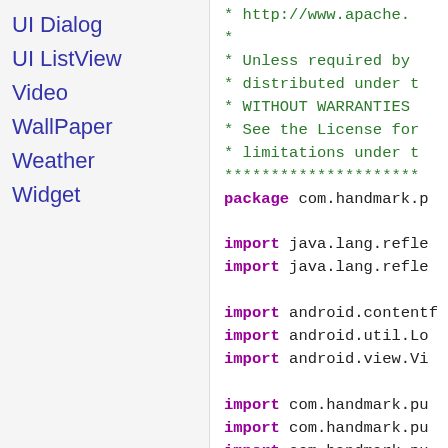UI Dialog
UI ListView
Video
WallPaper
Weather
Widget
* http://www.apache.
 *
 * Unless required by
 * distributed under t
 * WITHOUT WARRANTIES
 * See the License for
 * limitations under t
 * **********************
package com.handmark.p

import java.lang.refle
import java.lang.refle

import android.contentf
import android.util.Lo
import android.view.Vi

import com.handmark.pu
import com.handmark.pu
import com.handmark.pu
import com.handmark.pu
import com.handmark.pu
/**
 * Factory which creat